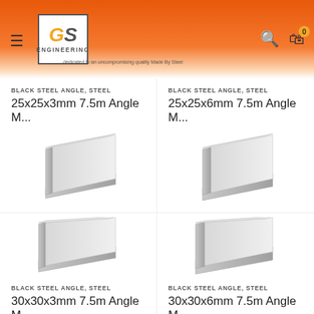[Figure (logo): GS Engineering logo with orange G and grey S in bordered box, with hamburger menu, search icon, and cart icon with badge showing 0]
BLACK STEEL ANGLE, STEEL
25x25x3mm 7.5m Angle M...
[Figure (photo): Silver/grey metal angle iron L-shaped profile, view from front-left perspective]
BLACK STEEL ANGLE, STEEL
25x25x6mm 7.5m Angle M...
[Figure (photo): Silver/grey metal angle iron L-shaped profile, view from front-left perspective]
BLACK STEEL ANGLE, STEEL
30x30x3mm 7.5m Angle M...
BLACK STEEL ANGLE, STEEL
30x30x6mm 7.5m Angle M...